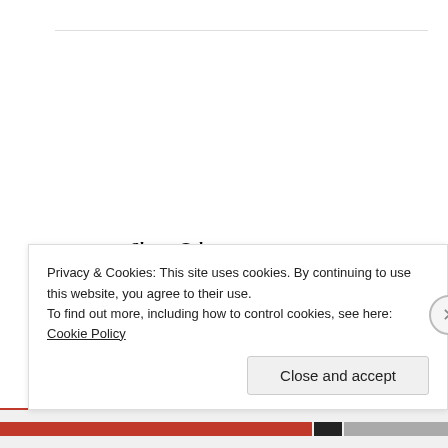Sherry Galey
OCTOBER 17, 2013 AT 11:49 PM
Such admirable and courageous action should not be forgotten. Thanks, Sheryl-Elaine.
Privacy & Cookies: This site uses cookies. By continuing to use this website, you agree to their use.
To find out more, including how to control cookies, see here: Cookie Policy
Close and accept